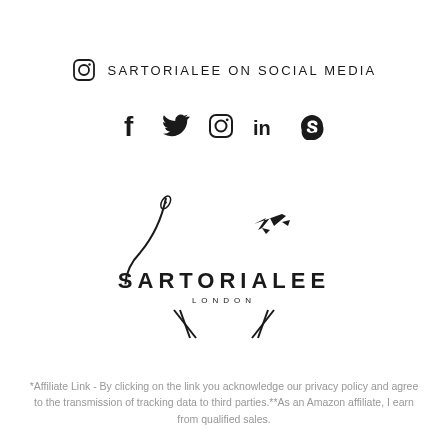SARTORIALEE ON SOCIAL MEDIA
[Figure (infographic): Social media icons: Facebook, Twitter, Instagram, LinkedIn, Skype]
[Figure (logo): Sartorialee London logo with needle, thread, airplane and scissors forming a compass-like emblem above the text SARTORIALEE LONDON]
*Affiliate Link - By clicking on the link you acknowledge our privacy policy and agree to the transmission of tracking data to third parties.**As an Amazon affiliate, I earn from qualified sales.